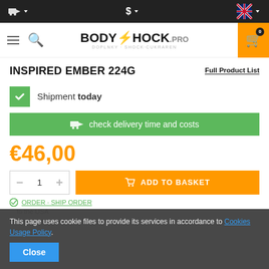[Figure (screenshot): Top navigation bar with dark background, truck/shipping icon on left, dollar currency selector in center, UK flag on right]
[Figure (logo): BodyShock.pro logo with orange lightning bolt, search and hamburger menu icons, shopping cart with 0 badge]
INSPIRED EMBER 224G
Full Product List
Shipment today
check delivery time and costs
€46,00
1
ADD TO BASKET
This page uses cookie files to provide its services in accordance to Cookies Usage Policy.
Close
to the USA